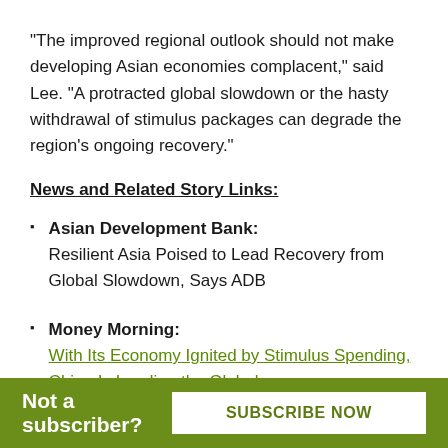"The improved regional outlook should not make developing Asian economies complacent," said Lee. "A protracted global slowdown or the hasty withdrawal of stimulus packages can degrade the region's ongoing recovery."
News and Related Story Links:
Asian Development Bank: Resilient Asia Poised to Lead Recovery from Global Slowdown, Says ADB
Money Morning: With Its Economy Ignited by Stimulus Spending, China Is Leading the Global
Not a subscriber? SUBSCRIBE NOW